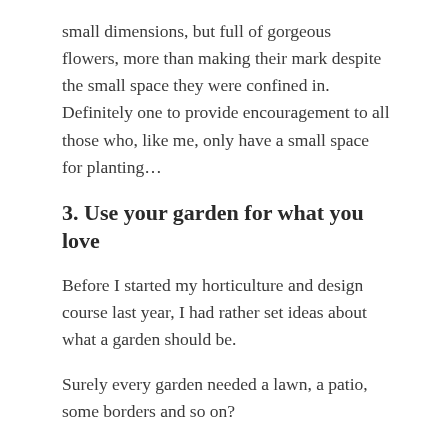small dimensions, but full of gorgeous flowers, more than making their mark despite the small space they were confined in. Definitely one to provide encouragement to all those who, like me, only have a small space for planting…
3. Use your garden for what you love
Before I started my horticulture and design course last year, I had rather set ideas about what a garden should be.
Surely every garden needed a lawn, a patio, some borders and so on?
Of course, this is complete nonsense. Your garden should contain only the elements you want and will use.
No interest in a lawn but lots of time entertaining outside?